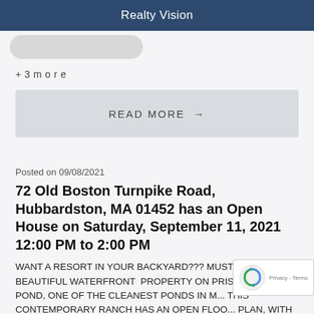Realty Vision
[Figure (other): Partially visible rounded image placeholder]
+ 3 more
READ MORE →
Posted on 09/08/2021
72 Old Boston Turnpike Road, Hubbardston, MA 01452 has an Open House on Saturday, September 11, 2021 12:00 PM to 2:00 PM
WANT A RESORT IN YOUR BACKYARD??? MUST SEE THIS BEAUTIFUL WATERFRONT PROPERTY ON PRISTINE COMET POND, ONE OF THE CLEANEST PONDS IN M... THIS CONTEMPORARY RANCH HAS AN OPEN FLOO... PLAN, WITH A GREAT ROOM WITH SLIDERS TO A LA... DECK OVERLOOKING THE POND. THE MASTER